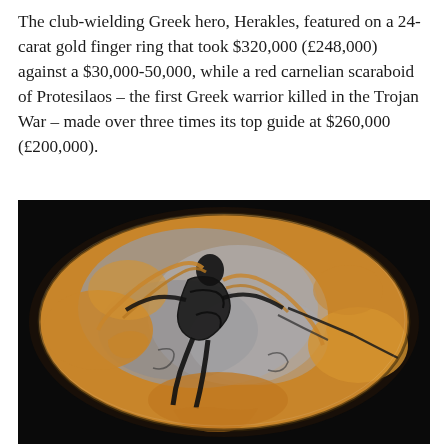The club-wielding Greek hero, Herakles, featured on a 24-carat gold finger ring that took $320,000 (£248,000) against a $30,000-50,000, while a red carnelian scaraboid of Protesilaos – the first Greek warrior killed in the Trojan War – made over three times its top guide at $260,000 (£200,000).
[Figure (photo): Close-up photograph of an ancient scaraboid gemstone on a black background. The oval stone displays an engraved scene in dark black lines against an orange-amber and silvery-grey ground, depicting a warrior figure (Protesilaos) with flowing hair and garments, rendered in the ancient Greek intaglio style.]